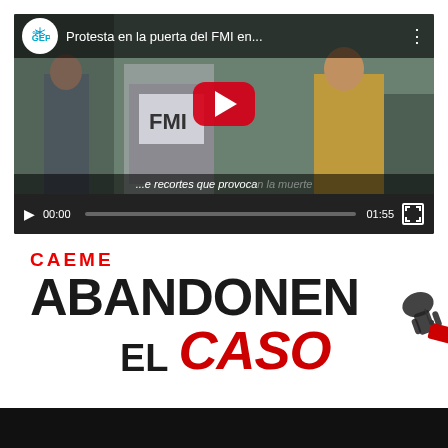[Figure (screenshot): YouTube video embed showing a protest at the FMI (IMF) door. Title reads 'Protesta en la puerta del FMI en...' with GEP channel icon. Red YouTube play button visible. Video controls show 00:00 / 01:55.]
[Figure (logo): Logo text: 'CAEME' in red, 'ABANDONEN' in large black bold, 'EL CASO' with EL in black and CASO in red italic, with decorative hand/tag icon.]